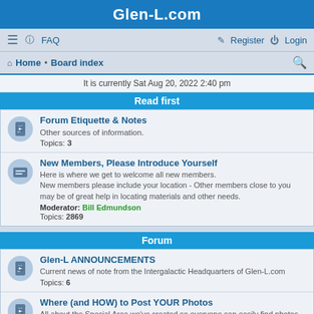Glen-L.com
☰  FAQ    Register  Login
Home · Board index
It is currently Sat Aug 20, 2022 2:40 pm
Read first
Forum Etiquette & Notes
Other sources of information.
Topics: 3
New Members, Please Introduce Yourself
Here is where we get to welcome all new members.
New members please include your location - Other members close to you may be of great help in locating materials and other needs.
Moderator: Bill Edmundson
Topics: 2869
Forum
Glen-L ANNOUNCEMENTS
Current news of note from the Intergalactic Headquarters of Glen-L.com
Topics: 6
Where (and HOW) to Post YOUR Photos
All about the Special Area we've created so everyone can easily find photos of your boat/build.
Topics: 1